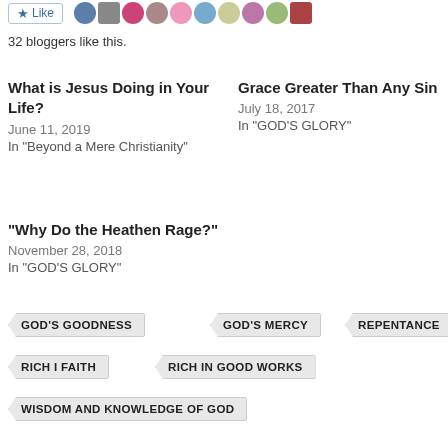[Figure (screenshot): Like button with star icon and a row of avatar profile photos]
32 bloggers like this.
What is Jesus Doing in Your Life?
June 11, 2019
In "Beyond a Mere Christianity"
Grace Greater Than Any Sin
July 18, 2017
In "GOD'S GLORY"
“Why Do the Heathen Rage?”
November 28, 2018
In "GOD'S GLORY"
GOD'S GOODNESS
GOD'S MERCY
REPENTANCE
RICH I FAITH
RICH IN GOOD WORKS
WISDOM AND KNOWLEDGE OF GOD